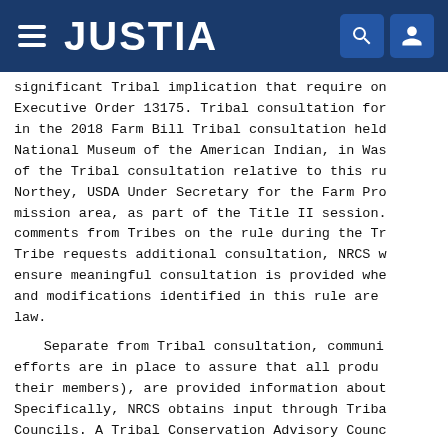JUSTIA
significant Tribal implication that require on Executive Order 13175. Tribal consultation for in the 2018 Farm Bill Tribal consultation held National Museum of the American Indian, in Was of the Tribal consultation relative to this ru Northey, USDA Under Secretary for the Farm Pro mission area, as part of the Title II session. comments from Tribes on the rule during the Tr Tribe requests additional consultation, NRCS w ensure meaningful consultation is provided whe and modifications identified in this rule are law.
Separate from Tribal consultation, communi efforts are in place to assure that all produ their members), are provided information about Specifically, NRCS obtains input through Trib Councils. A Tribal Conservation Advisory Counc